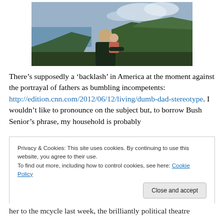[Figure (photo): A man holding a baby/toddler outdoors with coastal hills and ocean in the background under a partly cloudy sky.]
There’s supposedly a ‘backlash’ in America at the moment against the portrayal of fathers as bumbling incompetents: http://edition.cnn.com/2012/06/12/living/dumb-dad-stereotype. I wouldn’t like to pronounce on the subject but, to borrow Bush Senior’s phrase, my household is probably
Privacy & Cookies: This site uses cookies. By continuing to use this website, you agree to their use.
To find out more, including how to control cookies, see here: Cookie Policy
Close and accept
her to the mcycle last week, the brilliantly political theatre